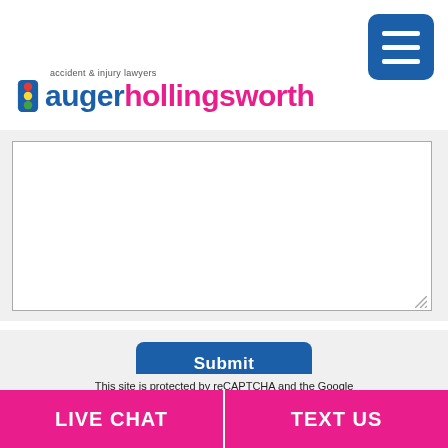[Figure (logo): Auger Hollingsworth accident & injury lawyers logo with traffic light icon, blue and pink text]
[Figure (screenshot): Hamburger menu button in blue rounded square]
[Figure (screenshot): Text area input form field with resize handle]
[Figure (screenshot): Submit button in blue]
This site is protected by reCAPTCHA and the Google Privacy Policy and Terms of Service apply.
By submitting this form, you agree to receive follow-up communications relating to your inquiries and marketing emails
LIVE CHAT | TEXT US